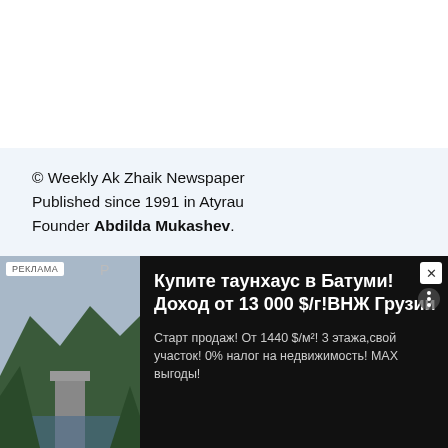© Weekly Ak Zhaik Newspaper Published since 1991 in Atyrau Founder Abdilda Mukashev.
Reference to the site www.azh.kz or www.wkt.kz is required when using our articles.
Information for advertisers
Contact us
Book an Ad
Payment
[Figure (infographic): Advertisement overlay: Ad for townhouse purchase in Batumi, Georgia with income from 13,000 $/year and VNZ Georgia. Shows mountain/dam landscape image on left, ad text on right on dark background. РЕКЛАМА tag visible.]